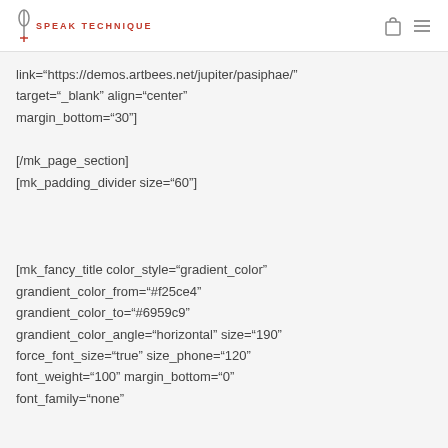SPEAK TECHNIQUE
link="https://demos.artbees.net/jupiter/pasiphae/" target="_blank" align="center" margin_bottom="30"]
[/mk_page_section]
[mk_padding_divider size="60"]
[mk_fancy_title color_style="gradient_color" grandient_color_from="#f25ce4" grandient_color_to="#6959c9" grandient_color_angle="horizontal" size="190" force_font_size="true" size_phone="120" font_weight="100" margin_bottom="0" font_family="none"